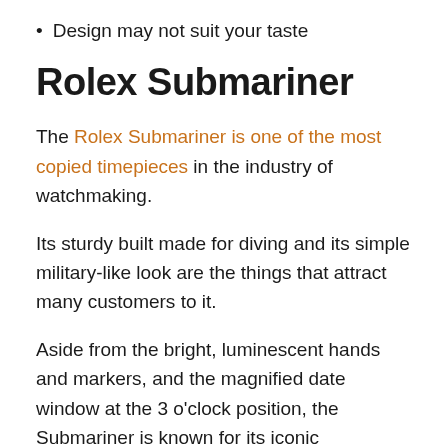Design may not suit your taste
Rolex Submariner
The Rolex Submariner is one of the most copied timepieces in the industry of watchmaking.
Its sturdy built made for diving and its simple military-like look are the things that attract many customers to it.
Aside from the bright, luminescent hands and markers, and the magnified date window at the 3 o'clock position, the Submariner is known for its iconic